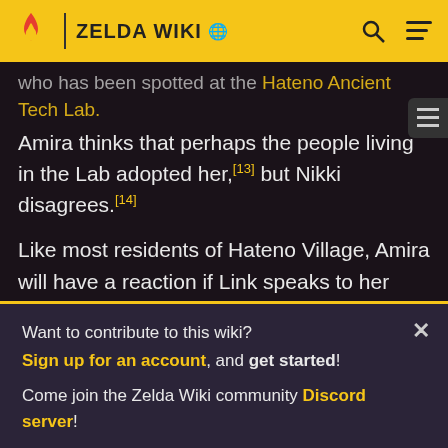ZELDA WIKI
who has been spotted at the Hateno Ancient Tech Lab. Amira thinks that perhaps the people living in the Lab adopted her,[13] but Nikki disagrees.[14]
Like most residents of Hateno Village, Amira will have a reaction if Link speaks to her while carrying the Blue Flame. She notes that it is dangerous and says that he should not run around with it.[15] If Link speaks to her again, she scolds him for carrying something so dangerous and tells him to put it away.[16]
Want to contribute to this wiki? Sign up for an account, and get started! Come join the Zelda Wiki community Discord server!